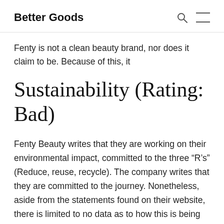Better Goods
Fenty is not a clean beauty brand, nor does it claim to be. Because of this, it
Sustainability (Rating: Bad)
Fenty Beauty writes that they are working on their environmental impact, committed to the three “R’s” (Reduce, reuse, recycle). The company writes that they are committed to the journey. Nonetheless, aside from the statements found on their website, there is limited to no data as to how this is being